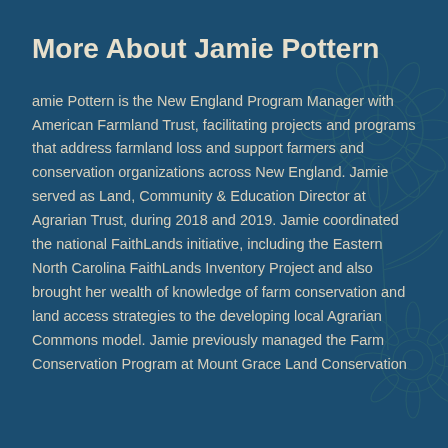More About Jamie Pottern
amie Pottern is the New England Program Manager with American Farmland Trust, facilitating projects and programs that address farmland loss and support farmers and conservation organizations across New England. Jamie served as Land, Community & Education Director at Agrarian Trust, during 2018 and 2019. Jamie coordinated the national FaithLands initiative, including the Eastern North Carolina FaithLands Inventory Project and also brought her wealth of knowledge of farm conservation and land access strategies to the developing local Agrarian Commons model. Jamie previously managed the Farm Conservation Program at Mount Grace Land Conservation